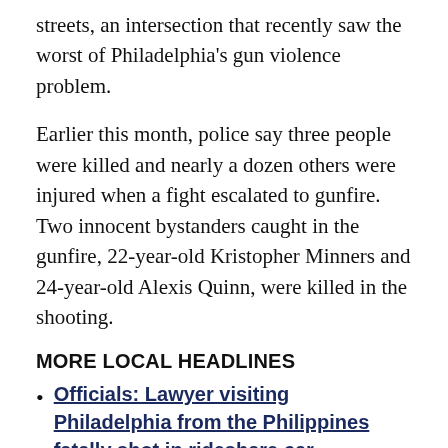streets, an intersection that recently saw the worst of Philadelphia's gun violence problem.
Earlier this month, police say three people were killed and nearly a dozen others were injured when a fight escalated to gunfire. Two innocent bystanders caught in the gunfire, 22-year-old Kristopher Minners and 24-year-old Alexis Quinn, were killed in the shooting.
MORE LOCAL HEADLINES
Officials: Lawyer visiting Philadelphia from the Philippines fatally shot in rideshare car
Funeral arrangements announced for Philadelphia firefighter killed in collapse
New developments first published here...